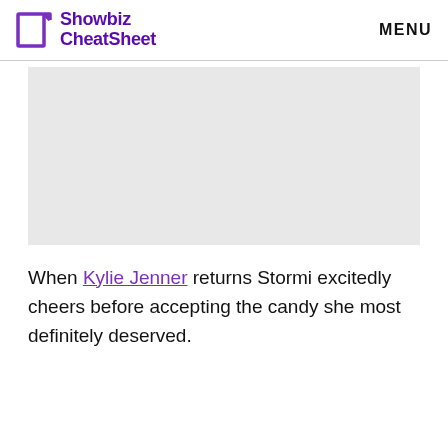Showbiz CheatSheet | MENU
[Figure (photo): Light gray placeholder image rectangle]
When Kylie Jenner returns Stormi excitedly cheers before accepting the candy she most definitely deserved.